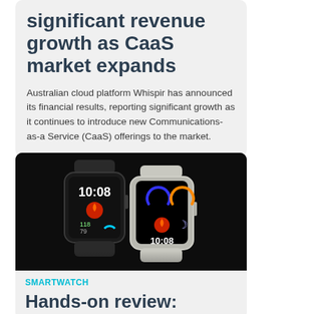significant revenue growth as CaaS market expands
Australian cloud platform Whispir has announced its financial results, reporting significant growth as it continues to introduce new Communications-as-a Service (CaaS) offerings to the market.
[Figure (photo): Two smartwatches displayed against a dark background — one dark/black and one light/silver, both showing 10:08 on their displays with colorful watch face complications.]
SMARTWATCH
Hands-on review: